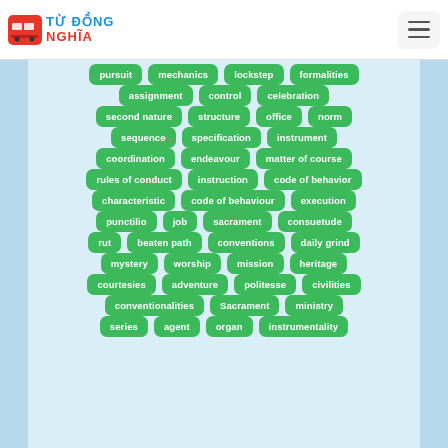Từ Đồng Nghĩa
pursuit
mechanics
lockstep
formalities
assignment
control
celebration
second nature
structure
office
norm
sequence
specification
instrument
coordination
endeavour
matter of course
rules of conduct
instruction
code of behavior
characteristic
code of behaviour
execution
punctilio
job
sacrament
consuetude
rut
beaten path
conventions
daily grind
mystery
worship
mission
heritage
courtesies
adventure
politesse
civilities
conventionalities
Sacrament
ministry
series
agent
organ
instrumentality